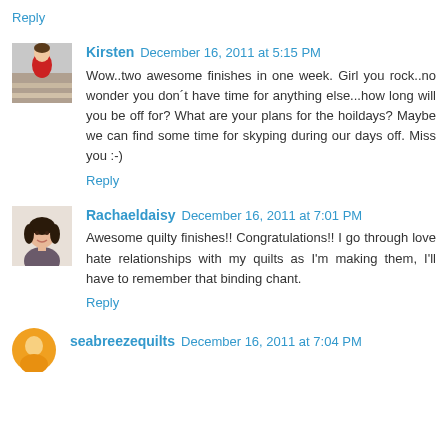Reply
Kirsten  December 16, 2011 at 5:15 PM
Wow..two awesome finishes in one week. Girl you rock..no wonder you don´t have time for anything else...how long will you be off for? What are your plans for the hoildays? Maybe we can find some time for skyping during our days off. Miss you :-)
Reply
Rachaeldaisy  December 16, 2011 at 7:01 PM
Awesome quilty finishes!! Congratulations!! I go through love hate relationships with my quilts as I'm making them, I'll have to remember that binding chant.
Reply
seabreezequilts  December 16, 2011 at 7:04 PM